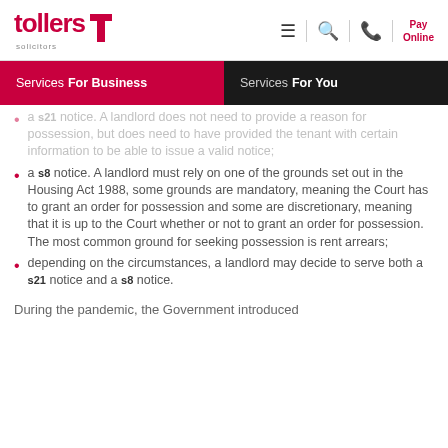tollers solicitors — Services For Business | Services For You
a s21 notice. A landlord does not need to provide a reason for possession, but does need to have provided the tenant with certain information to be able to issue a valid notice;
a s8 notice. A landlord must rely on one of the grounds set out in the Housing Act 1988, some grounds are mandatory, meaning the Court has to grant an order for possession and some are discretionary, meaning that it is up to the Court whether or not to grant an order for possession. The most common ground for seeking possession is rent arrears;
depending on the circumstances, a landlord may decide to serve both a s21 notice and a s8 notice.
During the pandemic, the Government introduced